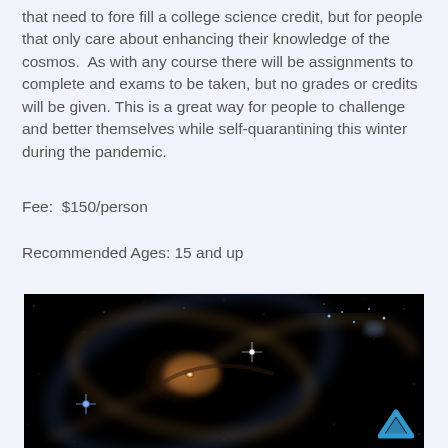that need to fore fill a college science credit, but for people that only care about enhancing their knowledge of the cosmos.  As with any course there will be assignments to complete and exams to be taken, but no grades or credits will be given. This is a great way for people to challenge and better themselves while self-quarantining this winter during the pandemic.
Fee:  $150/person
Recommended Ages: 15 and up
[Figure (photo): Hubble Space Telescope image of a spiral galaxy (UGC 1810) interacting with another galaxy, showing bright core, sweeping spiral arms, and surrounding stars on black background. A blue chevron/up-arrow icon is visible in the bottom-right corner.]